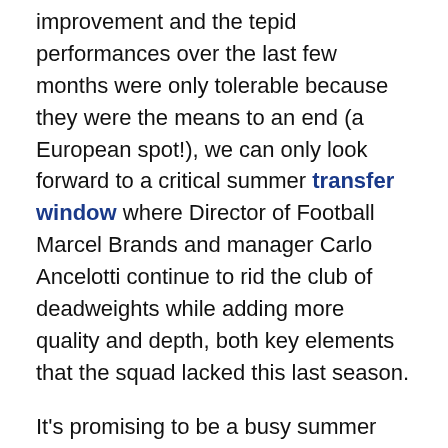improvement and the tepid performances over the last few months were only tolerable because they were the means to an end (a European spot!), we can only look forward to a critical summer transfer window where Director of Football Marcel Brands and manager Carlo Ancelotti continue to rid the club of deadweights while adding more quality and depth, both key elements that the squad lacked this last season.
It's promising to be a busy summer away from the club as well, with the European Championships and Copa America tournaments also being played over the next few weeks.
Here is a listing of a few keys dates for football fans in general, and we'll continue to update this as we learn more about Everton's pre-season plans.